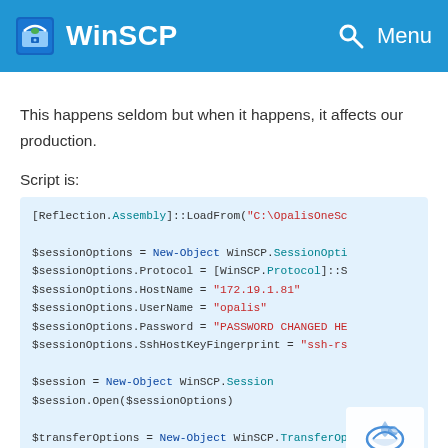WinSCP Menu
This happens seldom but when it happens, it affects our production.
Script is:
[Figure (screenshot): PowerShell code block showing WinSCP script with session options including hostname 172.19.1.81, username opalis, password redacted, SshHostKeyFingerprint, and session/transfer options setup]